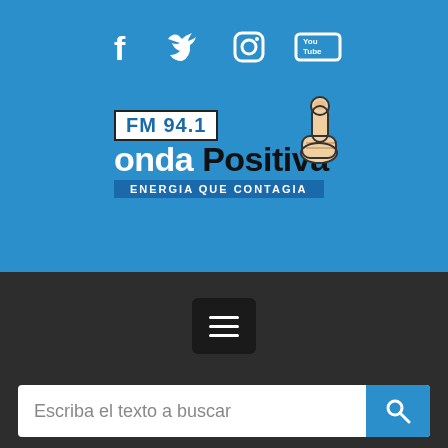[Figure (logo): Social media icons: Facebook (f), Twitter (bird), Instagram (camera), YouTube on blue background]
[Figure (logo): FM 94.1 Onda Positiva radio station logo with thumbs up icon and tagline ENERGIA QUE CONTAGIA on blue background]
[Figure (screenshot): Hamburger menu button (three horizontal lines) on dark background]
Escriba el texto a buscar